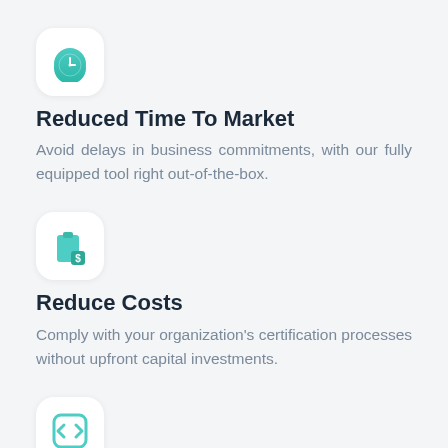[Figure (illustration): Teal clock icon inside a white rounded square card]
Reduced Time To Market
Avoid delays in business commitments, with our fully equipped tool right out-of-the-box.
[Figure (illustration): Teal clipboard with dollar sign icon inside a white rounded square card]
Reduce Costs
Comply with your organization's certification processes without upfront capital investments.
[Figure (illustration): Teal code brackets icon inside a white rounded square card]
Rapid DevOps